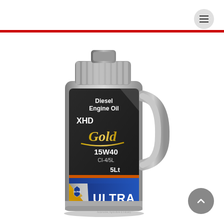[Figure (photo): Product photo of Ultra Lubricants XHD Gold Diesel Engine Oil 15W40 CI-4/5L, 5 litre container in silver/grey plastic bottle with dark label showing brand name, specifications, and blue/gold/orange Ultra branding at bottom]